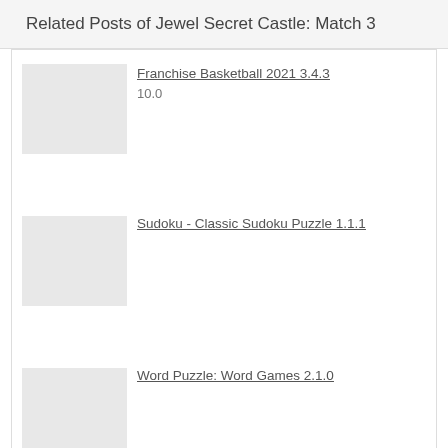Related Posts of Jewel Secret Castle: Match 3
Franchise Basketball 2021 3.4.3
10.0
Sudoku - Classic Sudoku Puzzle 1.1.1
Word Puzzle: Word Games 2.1.0